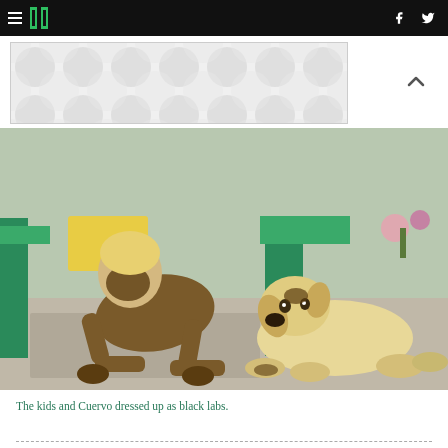Huffington Post navigation header with hamburger menu, logo, Facebook and Twitter icons
[Figure (photo): Advertisement banner with grey polka dot / bubble pattern on white background]
[Figure (photo): A young child covered in mud on all fours next to a yellow Labrador puppy also marked with mud, outdoors on a concrete/patio area with colorful playground equipment in the background]
The kids and Cuervo dressed up as black labs.